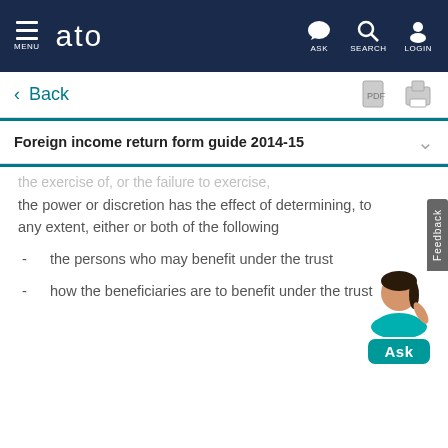MENU | ato | ASK | SEARCH | LOGIN
< Back
Foreign income return form guide 2014-15
the exercise of, or the failure to exercise, the power or discretion has the effect of determining, to any extent, either or both of the following
the persons who may benefit under the trust
how the beneficiaries are to benefit under the trust